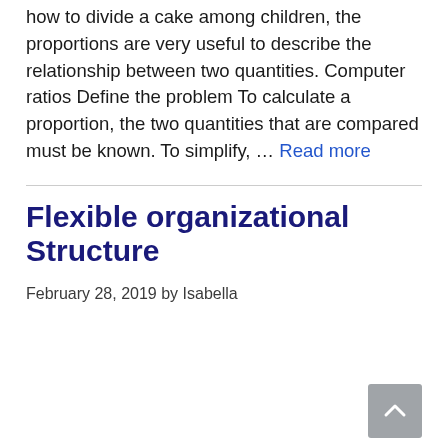how to divide a cake among children, the proportions are very useful to describe the relationship between two quantities. Computer ratios Define the problem To calculate a proportion, the two quantities that are compared must be known. To simplify, … Read more
Flexible organizational Structure
February 28, 2019 by Isabella